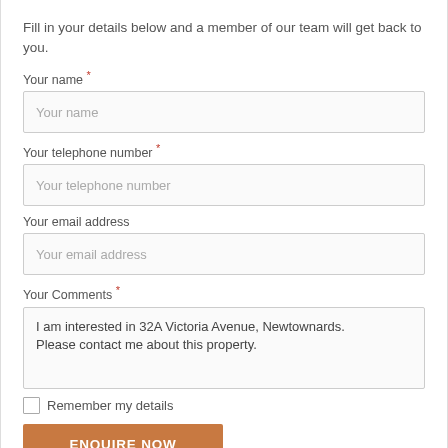Fill in your details below and a member of our team will get back to you.
Your name *
Your name
Your telephone number *
Your telephone number
Your email address
Your email address
Your Comments *
I am interested in 32A Victoria Avenue, Newtownards. Please contact me about this property.
Remember my details
ENQUIRE NOW